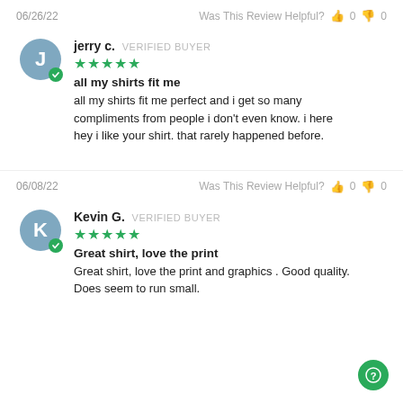06/26/22   Was This Review Helpful?  👍 0  👎 0
jerry c.  VERIFIED BUYER
★★★★★
all my shirts fit me
all my shirts fit me perfect and i get so many compliments from people i don't even know. i here hey i like your shirt. that rarely happened before.
06/08/22   Was This Review Helpful?  👍 0  👎 0
Kevin G.  VERIFIED BUYER
★★★★★
Great shirt, love the print
Great shirt, love the print and graphics . Good quality. Does seem to run small.